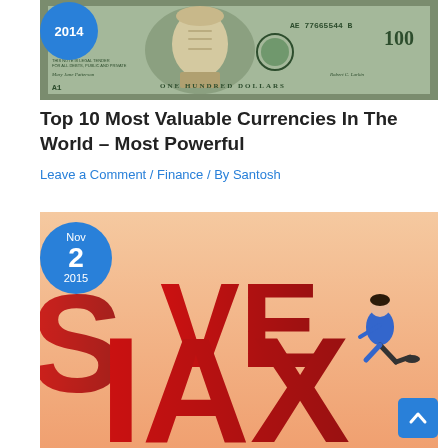[Figure (photo): Close-up photo of a US $100 bill with AE 77665544B serial number and Benjamin Franklin portrait, with a blue circular date badge showing '2014' overlaid on the top-left corner]
Top 10 Most Valuable Currencies In The World – Most Powerful
Leave a Comment / Finance / By Santosh
[Figure (photo): Illustration showing large red 3D letters spelling 'SAVE TAX' with a man in a blue shirt sitting/reclining on the letter 'X', with a blue circular date badge showing 'Nov 2 2015' overlaid on the top-left corner]